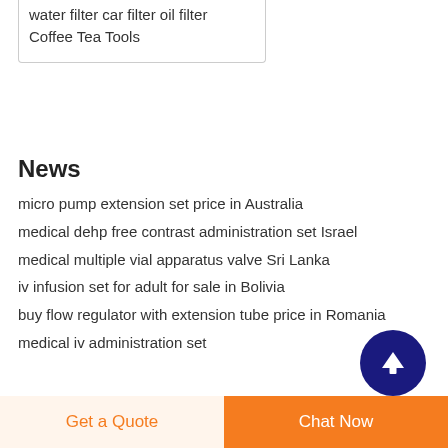water filter car filter oil filter
Coffee Tea Tools
News
micro pump extension set price in Australia
medical dehp free contrast administration set Israel
medical multiple vial apparatus valve Sri Lanka
iv infusion set for adult for sale in Bolivia
buy flow regulator with extension tube price in Romania
medical iv administration set
[Figure (other): Scroll to top button — dark navy circle with white upward arrow]
Get a Quote   Chat Now